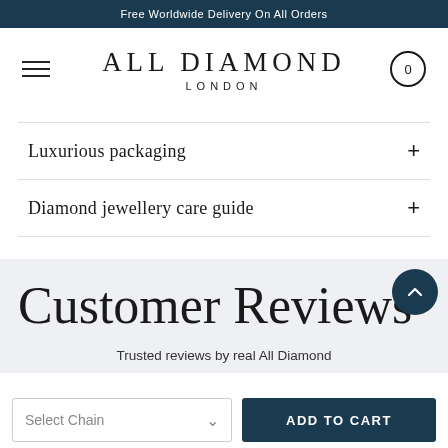Free Worldwide Delivery On All Orders
ALL DIAMOND
LONDON
Luxurious packaging
Diamond jewellery care guide
Customer Reviews
Trusted reviews by real All Diamond